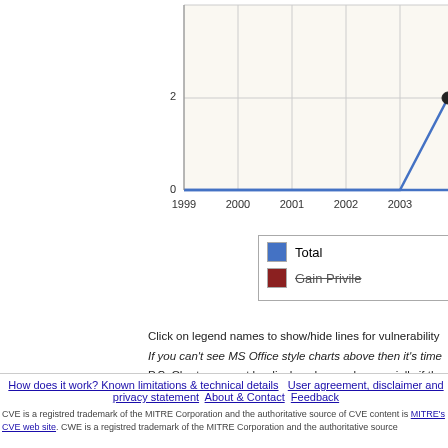[Figure (line-chart): ]
Click on legend names to show/hide lines for vulnerability types. If you can't see MS Office style charts above then it's time... P.S: Charts may not be displayed properly especially if the...
This page lists vulnerability statistics for KDE KDE 3.0.3 *
How does it work? Known limitations & technical details  User agreement, disclaimer and privacy statement  About & Contact  Feedback
CVE is a registred trademark of the MITRE Corporation and the authoritative source of CVE content is MITRE's CVE web site. CWE is a registred trademark of the MITRE Corporation and the authoritative source